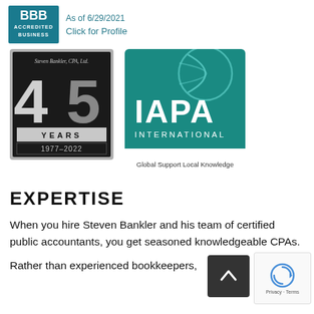[Figure (logo): BBB Accredited Business badge with text 'As of 6/29/2021' and 'Click for Profile']
[Figure (logo): Steven Bankler CPA Ltd 45 Years 1977-2022 anniversary badge, black and silver]
[Figure (logo): IAPA International logo, teal/green square with globe graphic and text 'Global Support Local Knowledge']
EXPERTISE
When you hire Steven Bankler and his team of certified public accountants, you get seasoned knowledgeable CPAs.
Rather than experienced bookkeepers,